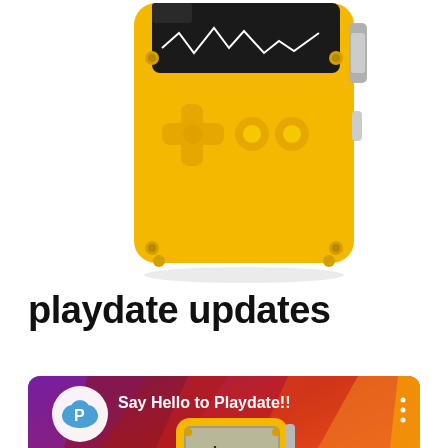[Figure (photo): Yellow Playdate handheld gaming device shown from the front, partially cropped at top. Yellow body with d-pad on left, two round buttons on right, black screen at top, metal hinge/clip visible on right side, screws at corners.]
playdate updates
[Figure (screenshot): YouTube video thumbnail showing 'Say Hello to Playdate!!' with Panic logo (blue cloud with P) on left, three-dot menu on right, colorful diagonal stripe background in purple/red/orange/yellow, yellow Playdate device in center with 'play date' text on screen and a play button triangle overlay.]